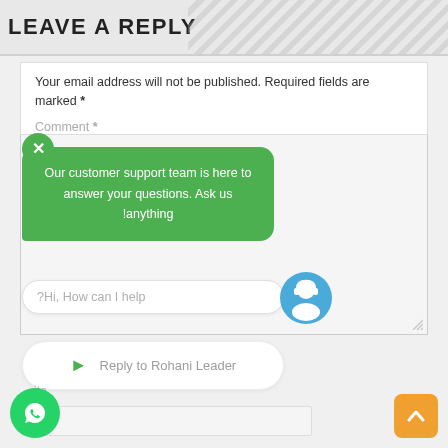LEAVE A REPLY
Your email address will not be published. Required fields are marked *
Comment *
[Figure (screenshot): Live chat widget overlay showing a green customer support bubble with text 'Our customer support team is here to answer your questions. Ask us anything', a chat input field with placeholder text 'Hi, How can I help?', a support agent avatar icon, and a 'Reply to Rohani Leader' button]
[Figure (logo): WhatsApp icon button (green circle with phone handset)]
[Figure (other): Orange scroll-to-top button with chevron/caret up symbol]
site